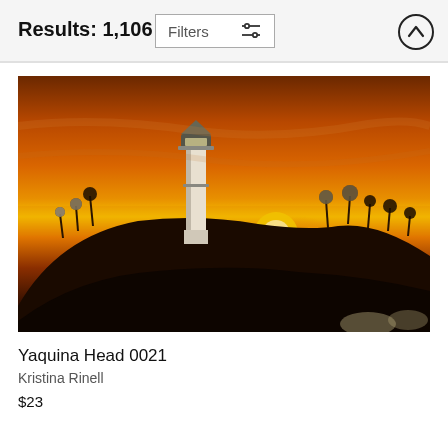Results: 1,106
[Figure (screenshot): Filters button with sliders icon and upload/scroll-up arrow button in circular border]
[Figure (photo): Lighthouse at sunset on a hill with wildflowers against an orange and golden sky. Yaquina Head lighthouse silhouetted.]
Yaquina Head 0021
Kristina Rinell
$23